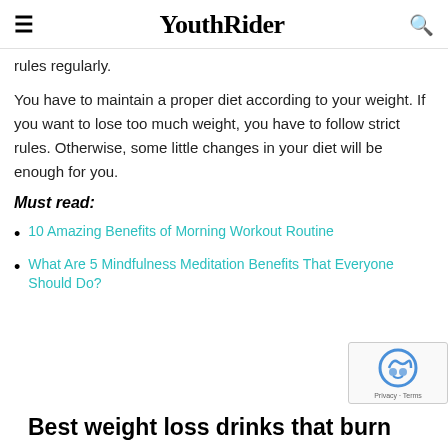YouthRider
rules regularly.
You have to maintain a proper diet according to your weight. If you want to lose too much weight, you have to follow strict rules. Otherwise, some little changes in your diet will be enough for you.
Must read:
10 Amazing Benefits of Morning Workout Routine
What Are 5 Mindfulness Meditation Benefits That Everyone Should Do?
Best weight loss drinks that burn